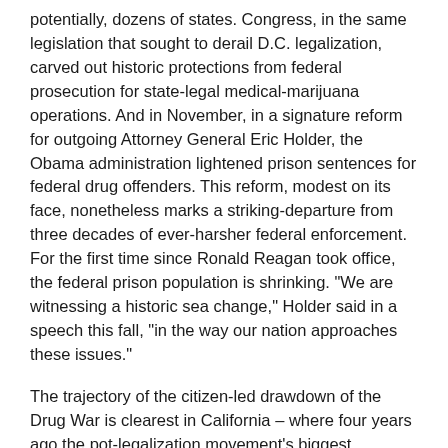potentially, dozens of states. Congress, in the same legislation that sought to derail D.C. legalization, carved out historic protections from federal prosecution for state-legal medical-marijuana operations. And in November, in a signature reform for outgoing Attorney General Eric Holder, the Obama administration lightened prison sentences for federal drug offenders. This reform, modest on its face, nonetheless marks a striking-departure from three decades of ever-harsher federal enforcement. For the first time since Ronald Reagan took office, the federal prison population is shrinking. "We are witnessing a historic sea change," Holder said in a speech this fall, "in the way our nation approaches these issues."
The trajectory of the citizen-led drawdown of the Drug War is clearest in California – where four years ago the pot-legalization movement's biggest stumble, ironically, helped clear a path for one of the anti-Drug War movement's most transformational successes this past November.
Pushing the envelope back in 2010, California activists qualified a ballot initiative to legalize recreational marijuana. At the time, Holder warned the Justice Department would "vigorously enforce" federal marijuana prohibitions in California. For at once...